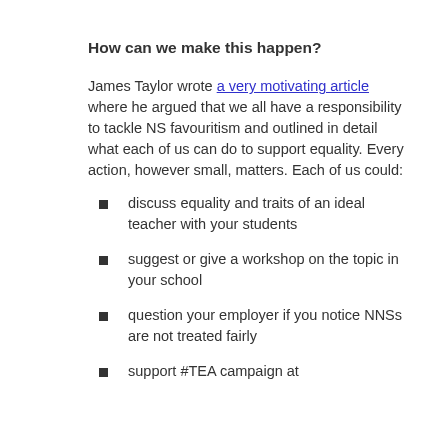How can we make this happen?
James Taylor wrote a very motivating article where he argued that we all have a responsibility to tackle NS favouritism and outlined in detail what each of us can do to support equality. Every action, however small, matters. Each of us could:
discuss equality and traits of an ideal teacher with your students
suggest or give a workshop on the topic in your school
question your employer if you notice NNSs are not treated fairly
support #TEA campaign at